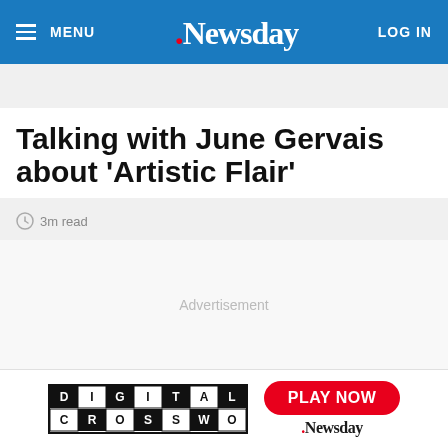MENU | Newsday | LOG IN
SUBSCRIBE $1 FOR 5 MONTHS
Talking with June Gervais about 'Artistic Flair'
3m read
Advertisement
[Figure (logo): Digital Crossword logo with black and white checker grid pattern, Play Now button in red, and Newsday logo]